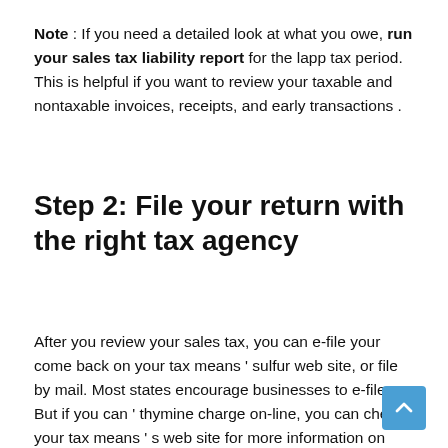Note : If you need a detailed look at what you owe, run your sales tax liability report for the lapp tax period. This is helpful if you want to review your taxable and nontaxable invoices, receipts, and early transactions .
Step 2: File your return with the right tax agency
After you review your sales tax, you can e-file your come back on your tax means ‘ sulfur web site, or file by mail. Most states encourage businesses to e-file. But if you can ‘ thymine charge on-line, you can check your tax means ‘ s web site for more information on how to mail your reoloct. While you